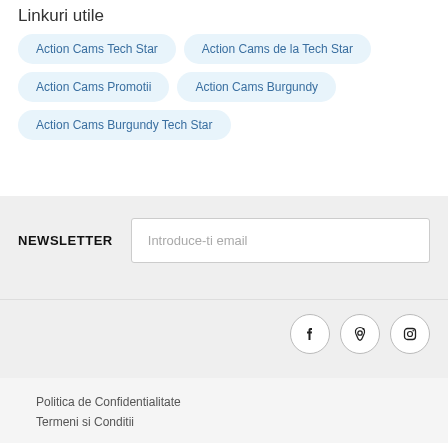Linkuri utile
Action Cams Tech Star
Action Cams de la Tech Star
Action Cams Promotii
Action Cams Burgundy
Action Cams Burgundy Tech Star
NEWSLETTER
Introduce-ti email
[Figure (other): Social media icons: Facebook, Pinterest, Instagram in circular outlines]
Politica de Confidentialitate
Termeni si Conditii